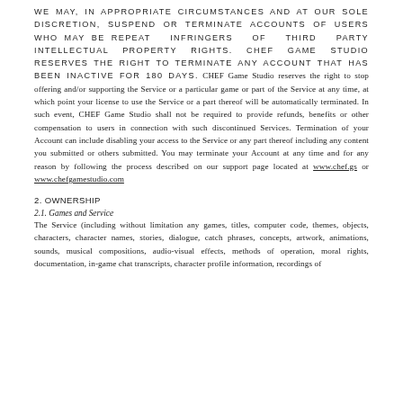WE MAY, IN APPROPRIATE CIRCUMSTANCES AND AT OUR SOLE DISCRETION, SUSPEND OR TERMINATE ACCOUNTS OF USERS WHO MAY BE REPEAT INFRINGERS OF THIRD PARTY INTELLECTUAL PROPERTY RIGHTS. CHEF GAME STUDIO RESERVES THE RIGHT TO TERMINATE ANY ACCOUNT THAT HAS BEEN INACTIVE FOR 180 DAYS. CHEF Game Studio reserves the right to stop offering and/or supporting the Service or a particular game or part of the Service at any time, at which point your license to use the Service or a part thereof will be automatically terminated. In such event, CHEF Game Studio shall not be required to provide refunds, benefits or other compensation to users in connection with such discontinued Services. Termination of your Account can include disabling your access to the Service or any part thereof including any content you submitted or others submitted. You may terminate your Account at any time and for any reason by following the process described on our support page located at www.chef.gs or www.chefgamestudio.com
2. OWNERSHIP
2.1. Games and Service
The Service (including without limitation any games, titles, computer code, themes, objects, characters, character names, stories, dialogue, catch phrases, concepts, artwork, animations, sounds, musical compositions, audio-visual effects, methods of operation, moral rights, documentation, in-game chat transcripts, character profile information, recordings of